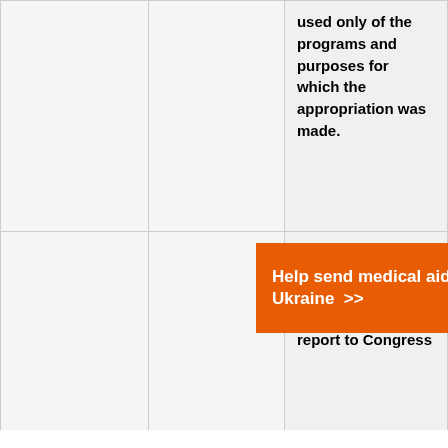|  |  | used only of the programs and purposes for which the appropriation was made. |
|  |  | The Nunn-McCurdy Act (10 U.S.C. § 2433) requires DOD to report to Congress |
[Figure (infographic): Advertisement banner: 'Help send medical aid to Ukraine >>' with Direct Relief logo on orange background]